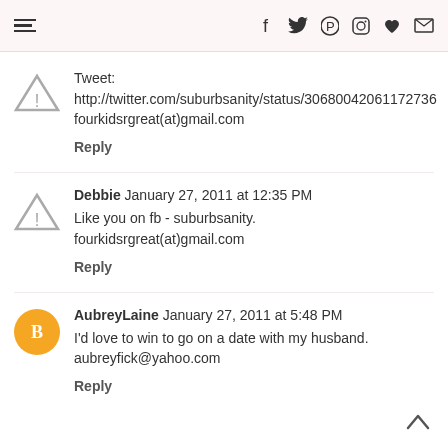Navigation and social icons header bar
Tweet: http://twitter.com/suburbsanity/status/30680042061172736
fourkidsrgreat(at)gmail.com
Reply
Debbie  January 27, 2011 at 12:35 PM
Like you on fb - suburbsanity.
fourkidsrgreat(at)gmail.com
Reply
AubreyLaine  January 27, 2011 at 5:48 PM
I'd love to win to go on a date with my husband.
aubreyfick@yahoo.com
Reply